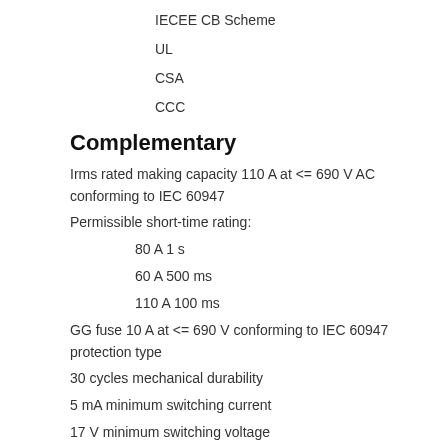IECEE CB Scheme
UL
CSA
CCC
Complementary
Irms rated making capacity 110 A at <= 690 V AC conforming to IEC 60947
Permissible short-time rating:
80 A 1 s
60 A 500 ms
110 A 100 ms
GG fuse 10 A at <= 690 V conforming to IEC 60947 protection type
30 cycles mechanical durability
5 mA minimum switching current
17 V minimum switching voltage
0.5 mm non overlap distance
insulation resistance > 10 MOhm